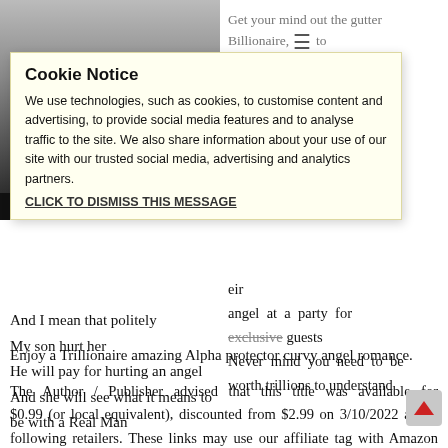[Figure (photo): Book cover image showing a person, partially visible, with dark gradient. Author name 'Anastasia Slash' shown at bottom of image.]
Get your mind out the gutter
Billionaire, to President of a
eir
angel at a party for
exclusive guests
Never mind you need to be
worth trillions to understand
[Figure (screenshot): Cookie Notice overlay popup with yellow background. Title: Cookie Notice. Body text about use of cookies, social media, advertising and analytics. Link: CLICK TO DISMISS THIS MESSAGE]
And I mean that politely
My son hurt her
He will pay for hurting an angel
And she will see what it means to be with a Real Man
Enjoy a Trillionaire amazing Alpha protector curvy angel romance.
The Author / Publisher advised that this title was available for $0.99 (or local equivalent), discounted from $2.99 on 3/10/2022 at the following retailers. These links may use our affiliate tag with Amazon and other retailers and as such may earn us